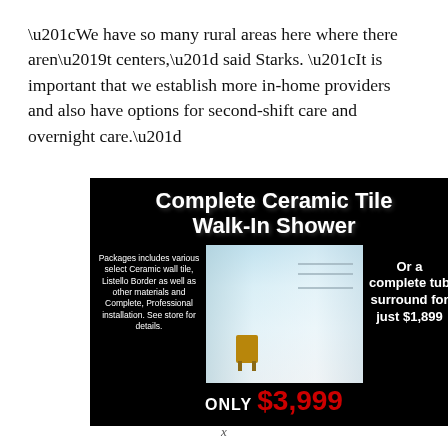“We have so many rural areas here where there aren’t centers,” said Starks. “It is important that we establish more in-home providers and also have options for second-shift care and overnight care.”
[Figure (illustration): Advertisement for Complete Ceramic Tile Walk-In Shower. Black background with shower photo in center. Left text describes package inclusions. Right text offers complete tub surround for $1,899. Bottom price reads ONLY $3,999 in red.]
x